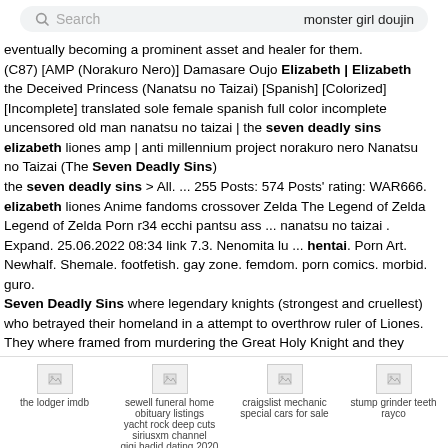Search | monster girl doujin
eventually becoming a prominent asset and healer for them. (C87) [AMP (Norakuro Nero)] Damasare Oujo Elizabeth | Elizabeth the Deceived Princess (Nanatsu no Taizai) [Spanish] [Colorized] [Incomplete] translated sole female spanish full color incomplete uncensored old man nanatsu no taizai | the seven deadly sins elizabeth liones amp | anti millennium project norakuro nero Nanatsu no Taizai (The Seven Deadly Sins) the seven deadly sins > All. ... 255 Posts: 574 Posts' rating: WAR666. elizabeth liones Anime fandoms crossover Zelda The Legend of Zelda Legend of Zelda Porn r34 ecchi pantsu ass ... nanatsu no taizai . Expand. 25.06.2022 08:34 link 7.3. Nenomita lu ... hentai. Porn Art. Newhalf. Shemale. footfetish. gay zone. femdom. porn comics. morbid. guro. Seven Deadly Sins where legendary knights (strongest and cruellest) who betrayed their homeland in a attempt to overthrow ruler of Liones. They where framed from murdering the Great Holy Knight and they
the lodger imdb | sewell funeral home obituary listings yacht rock deep cuts siriusxm channel gigi hadid dating 2020 | craigslist mechanic special cars for sale | stump grinder teeth rayco